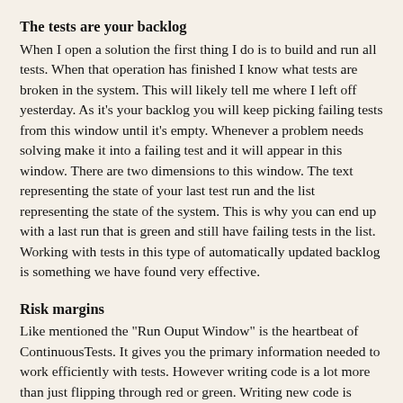The tests are your backlog
When I open a solution the first thing I do is to build and run all tests. When that operation has finished I know what tests are broken in the system. This will likely tell me where I left off yesterday. As it's your backlog you will keep picking failing tests from this window until it's empty. Whenever a problem needs solving make it into a failing test and it will appear in this window. There are two dimensions to this window. The text representing the state of your last test run and the list representing the state of the system. This is why you can end up with a last run that is green and still have failing tests in the list. Working with tests in this type of automatically updated backlog is something we have found very effective.
Risk margins
Like mentioned the "Run Ouput Window" is the heartbeat of ContinuousTests. It gives you the primary information needed to work efficiently with tests. However writing code is a lot more than just flipping through red or green. Writing new code is fairly safe and highly effective through TDD. However changing existing code is a whole different chapter. Ok so you go to the step of changing some existing code. Tests ran and it all came out green.